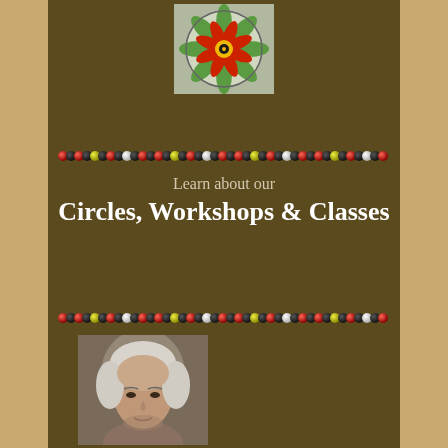[Figure (photo): Circular decorative art piece resembling a stained glass or fused glass mandala with red, yellow, green and black design on light background]
[Figure (illustration): Decorative bead divider strip with repeating pattern of red, black, yellow, white and grey beads/dots]
Learn about our
Circles, Workshops & Classes
[Figure (illustration): Decorative bead divider strip with repeating pattern of red, black, yellow, white and grey beads/dots]
[Figure (photo): Portrait photo of an older man with white/grey hair looking slightly downward]